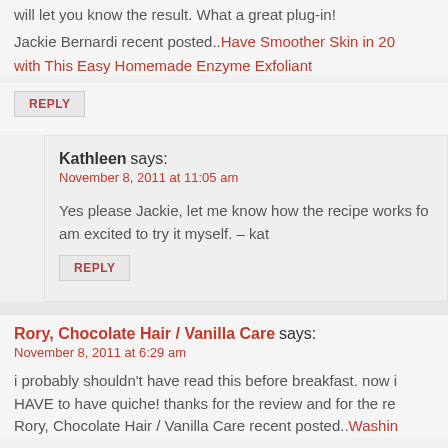will let you know the result. What a great plug-in!
Jackie Bernardi recent posted..Have Smoother Skin in 20 with This Easy Homemade Enzyme Exfoliant
REPLY
Kathleen says:
November 8, 2011 at 11:05 am
Yes please Jackie, let me know how the recipe works for am excited to try it myself. – kat
REPLY
Rory, Chocolate Hair / Vanilla Care says:
November 8, 2011 at 6:29 am
i probably shouldn't have read this before breakfast. now i HAVE to have quiche! thanks for the review and for the re Rory, Chocolate Hair / Vanilla Care recent posted..Washin